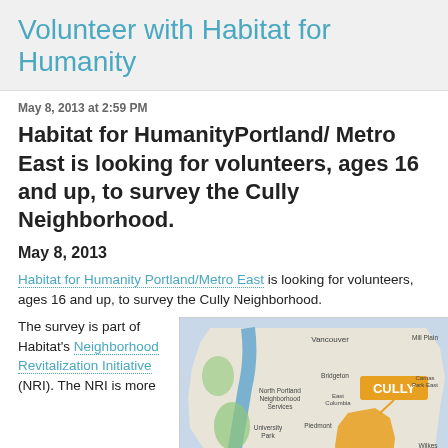Volunteer with Habitat for Humanity
May 8, 2013 at 2:59 PM
Habitat for HumanityPortland/ Metro East is looking for volunteers, ages 16 and up, to survey the Cully Neighborhood.
May 8, 2013
Habitat for Humanity Portland/Metro East is looking for volunteers, ages 16 and up, to survey the Cully Neighborhood.
The survey is part of Habitat's Neighborhood Revitalization Initiative (NRI). The NRI is more
[Figure (map): Map showing Portland metro area with the Cully neighborhood highlighted in orange, labeled CULLY with an arrow pointing to the highlighted area. Map includes surrounding areas: Vancouver, North Portland Neighborhood Services, University Park, King, Rose City Park, Madison South, Bridgeton, Piedmont, East Columbia, Wilkes, Camas Park East, Mill Plain, and other neighborhoods. The Willamette River is visible.]